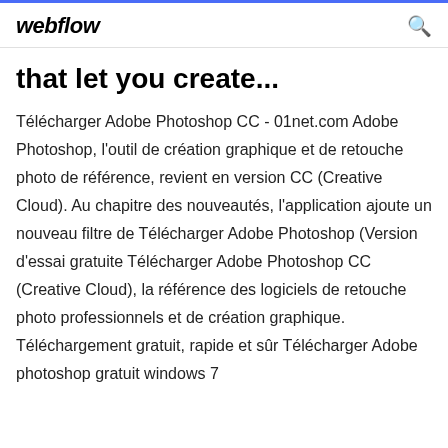webflow
that let you create...
Télécharger Adobe Photoshop CC - 01net.com Adobe Photoshop, l'outil de création graphique et de retouche photo de référence, revient en version CC (Creative Cloud). Au chapitre des nouveautés, l'application ajoute un nouveau filtre de Télécharger Adobe Photoshop (Version d'essai gratuite Télécharger Adobe Photoshop CC (Creative Cloud), la référence des logiciels de retouche photo professionnels et de création graphique. Téléchargement gratuit, rapide et sûr Télécharger Adobe photoshop gratuit windows 7